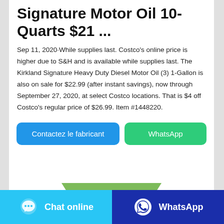Signature Motor Oil 10-Quarts $21 ...
Sep 11, 2020·While supplies last. Costco's online price is higher due to S&H and is available while supplies last. The Kirkland Signature Heavy Duty Diesel Motor Oil (3) 1-Gallon is also on sale for $22.99 (after instant savings), now through September 27, 2020, at select Costco locations. That is $4 off Costco's regular price of $26.99. Item #1448220.
[Figure (other): Two buttons: 'Contactez le fabricant' (blue) and 'WhatsApp' (green)]
[Figure (other): Partial image of a green trapezoid/motor oil container shape at bottom of card]
[Figure (other): Bottom bar with two buttons: 'Chat online' (light blue with chat icon) and 'WhatsApp' (dark blue with WhatsApp icon)]